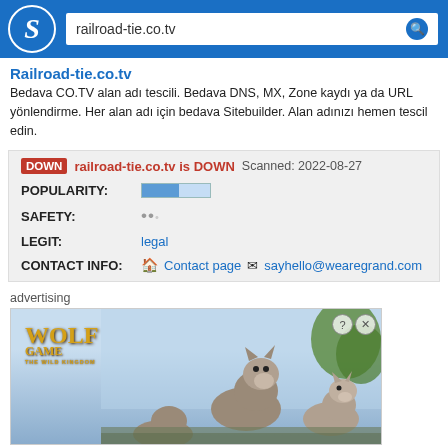[Figure (screenshot): Website safety checker page for railroad-tie.co.tv showing header with Scamadviser logo and search bar, site info, DOWN status, popularity/safety/legit/contact info, and an advertisement for Wolf Game: The Wild Kingdom]
Railroad-tie.co.tv
Bedava CO.TV alan adı tescili. Bedava DNS, MX, Zone kaydı ya da URL yönlendirme. Her alan adı için bedava Sitebuilder. Alan adınızı hemen tescil edin.
DOWN railroad-tie.co.tv is DOWN Scanned: 2022-08-27
POPULARITY:
SAFETY:
LEGIT: legal
CONTACT INFO: Contact page sayhello@wearegrand.com
advertising